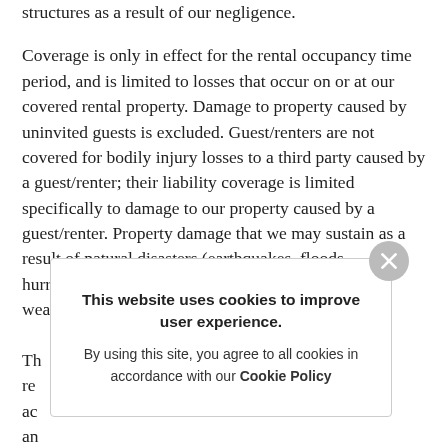structures as a result of our negligence.
Coverage is only in effect for the rental occupancy time period, and is limited to losses that occur on or at our covered rental property. Damage to property caused by uninvited guests is excluded. Guest/renters are not covered for bodily injury losses to a third party caused by a guest/renter; their liability coverage is limited specifically to damage to our property caused by a guest/renter. Property damage that we may sustain as a result of natural disasters (earthquakes, floods, hurricanes, hail damage or wind damage) or other weather-related events are no[t covered]
Th[...] re[...] ac[...] an[...] ce th[...] th[...]
This website uses cookies to improve user experience. By using this site, you agree to all cookies in accordance with our Cookie Policy